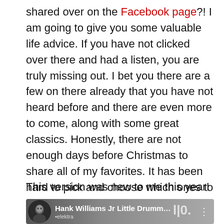shared over on the Facebook page?! I am going to give you some valuable life advice. If you have not clicked over there and had a listen, you are truly missing out. I bet you there are a few on there already that you have not heard before and there are even more to come, along with some great classics. Honestly, there are not enough days before Christmas to share all of my favorites. It has been hard to pick and choose which ones to share. One song a day is hard!
This version was new to me this year!
[Figure (screenshot): Media player thumbnail showing Hank Williams Jr Little Drummer ... with elektra label logo and artist photo]